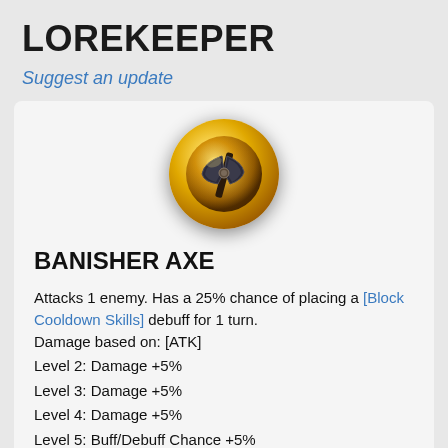LOREKEEPER
Suggest an update
[Figure (illustration): Circular gold coin icon with a dark axe emblem in the center, golden glow and metallic shading]
BANISHER AXE
Attacks 1 enemy. Has a 25% chance of placing a [Block Cooldown Skills] debuff for 1 turn.
Damage based on: [ATK]
Level 2: Damage +5%
Level 3: Damage +5%
Level 4: Damage +5%
Level 5: Buff/Debuff Chance +5%
Level 6: Buff/Debuff Chance +5%
Level 7: Buff/Debuff Chance +5%